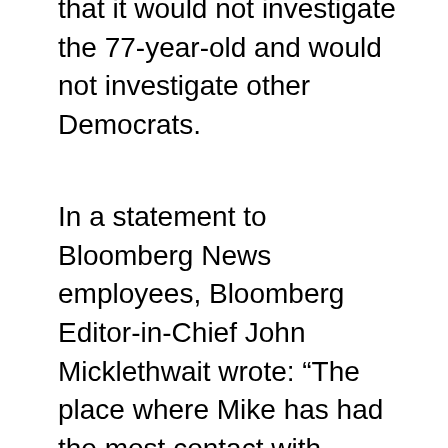that it would not investigate the 77-year-old and would not investigate other Democrats.
In a statement to Bloomberg News employees, Bloomberg Editor-in-Chief John Micklethwait wrote: “The place where Mike has had the most contact with Editorial is Bloomberg Opinion: our editorials have reflected his views. David Shipley, Tim O’Brien and some members of the Board responsible for those editorials will take a leave of absence to join Mike’s campaign. We will suspend the Board, so